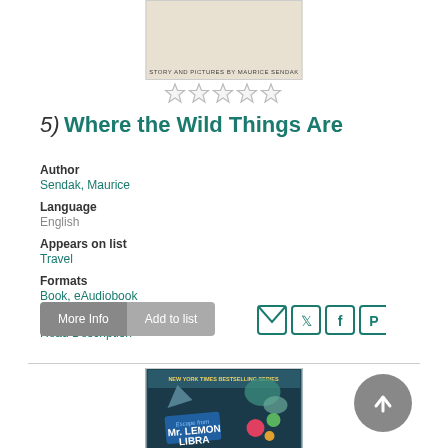[Figure (illustration): Book cover for 'Where the Wild Things Are' by Maurice Sendak, showing bottom portion with 'Story and Pictures by Maurice Sendak' text]
[Figure (other): Five empty star rating icons]
5)  Where the Wild Things Are
Author
Sendak, Maurice
Language
English
Appears on list
Travel
Formats
Book, eAudiobook
Description
Read Description
[Figure (other): Two buttons: 'More Info' and 'Add to list', plus social sharing icons for email, Twitter, Facebook, and Pinterest]
[Figure (illustration): Book cover for 'Mr. Lemoncello's Library' with colorful New York Times Bestselling Series design]
[Figure (other): Gray circular back-to-top button with upward arrow]